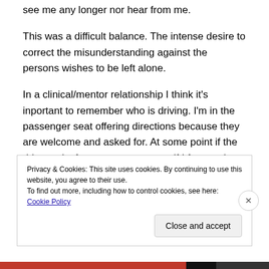see me any longer nor hear from me.
This was a difficult balance. The intense desire to correct the misunderstanding against the persons wishes to be left alone.
In a clinical/mentor relationship I think it's inportant to remember who is driving. I'm in the passenger seat offering directions because they are welcome and asked for. At some point if the driver asks for me to stop – even if I fear we have just made a wrong turn (not the kind with life or death consequences) I should honor that and walk
Privacy & Cookies: This site uses cookies. By continuing to use this website, you agree to their use.
To find out more, including how to control cookies, see here: Cookie Policy